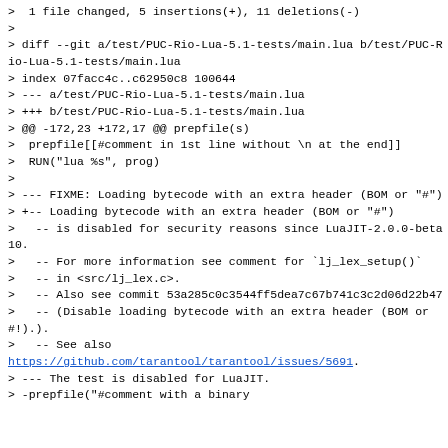>  1 file changed, 5 insertions(+), 11 deletions(-)
>
> diff --git a/test/PUC-Rio-Lua-5.1-tests/main.lua b/test/PUC-Rio-Lua-5.1-tests/main.lua
> index 07facc4c..c62950c8 100644
> --- a/test/PUC-Rio-Lua-5.1-tests/main.lua
> +++ b/test/PUC-Rio-Lua-5.1-tests/main.lua
> @@ -172,23 +172,17 @@ prepfile(s)
>  prepfile[[#comment in 1st line without \n at the end]]
>  RUN("lua %s", prog)
>
> --- FIXME: Loading bytecode with an extra header (BOM or "#")
> +-- Loading bytecode with an extra header (BOM or "#")
>   -- is disabled for security reasons since LuaJIT-2.0.0-beta10.
>   -- For more information see comment for `lj_lex_setup()`
>   -- in <src/lj_lex.c>.
>   -- Also see commit 53a285c0c3544ff5dea7c67b741c3c2d06d22b47
>   -- (Disable loading bytecode with an extra header (BOM or #!).)
>   -- See also
https://github.com/tarantool/tarantool/issues/5691.
> --- The test is disabled for LuaJIT.
> -prepfile("#comment with a binary